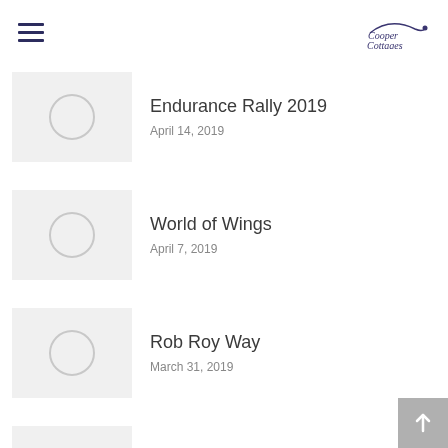Cooper Cottages
Endurance Rally 2019 — April 14, 2019
World of Wings — April 7, 2019
Rob Roy Way — March 31, 2019
Easter Break Inspiration — March 24, 2019